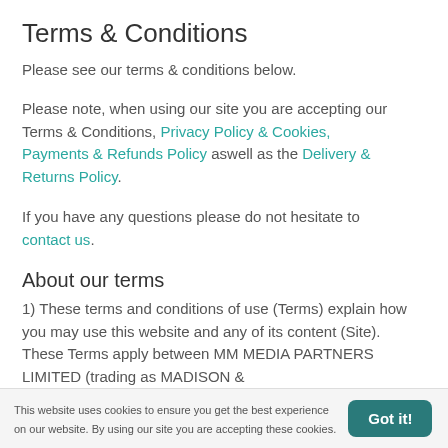Terms & Conditions
Please see our terms & conditions below.
Please note, when using our site you are accepting our Terms & Conditions, Privacy Policy & Cookies, Payments & Refunds Policy aswell as the Delivery & Returns Policy.
If you have any questions please do not hesitate to contact us.
About our terms
1) These terms and conditions of use (Terms) explain how you may use this website and any of its content (Site). These Terms apply between MM MEDIA PARTNERS LIMITED (trading as MADISON &
This website uses cookies to ensure you get the best experience on our website. By using our site you are accepting these cookies.